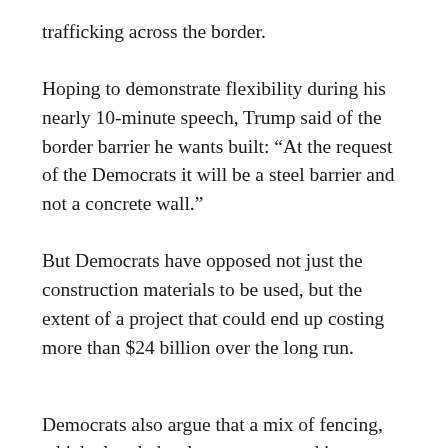trafficking across the border.
Hoping to demonstrate flexibility during his nearly 10-minute speech, Trump said of the border barrier he wants built: “At the request of the Democrats it will be a steel barrier and not a concrete wall.”
But Democrats have opposed not just the construction materials to be used, but the extent of a project that could end up costing more than $24 billion over the long run.
Democrats also argue that a mix of fencing, which already has been constructed in many parts of the border, and higher-tech tools would be cheaper and